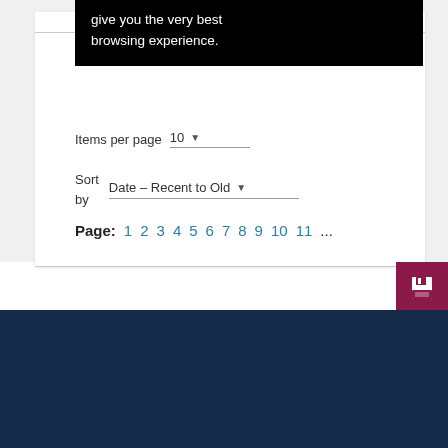give you the very best browsing experience.
Items per page 10
Sort by Date – Recent to Old
Page: 1 2 3 4 5 6 7 8 9 10 11 ...
[Figure (logo): Edward Elgar Publishing logo with EE monogram in a box]
Privacy & Cookies Policy
Terms & Conditions